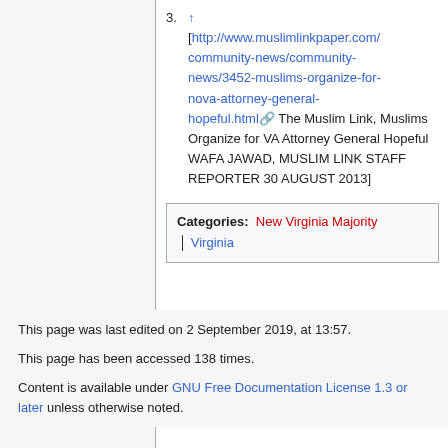3. ↑ [http://www.muslimlinkpaper.com/community-news/community-news/3452-muslims-organize-for-nova-attorney-general-hopeful.html The Muslim Link, Muslims Organize for VA Attorney General Hopeful WAFA JAWAD, MUSLIM LINK STAFF REPORTER 30 AUGUST 2013]
Categories: New Virginia Majority | Virginia
This page was last edited on 2 September 2019, at 13:57. This page has been accessed 138 times. Content is available under GNU Free Documentation License 1.3 or later unless otherwise noted.